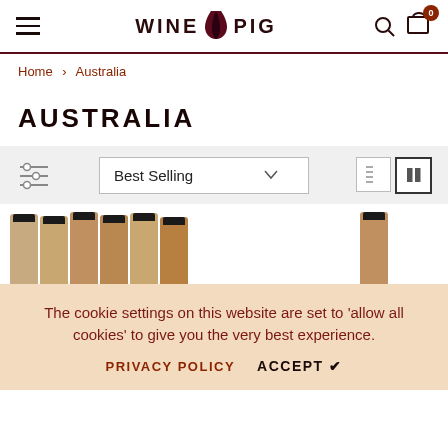WINE PIG
Home > Australia
AUSTRALIA
Best Selling
[Figure (screenshot): Wine bottle product thumbnails partially visible at bottom of page]
The cookie settings on this website are set to 'allow all cookies' to give you the very best experience. PRIVACY POLICY  ACCEPT ✔